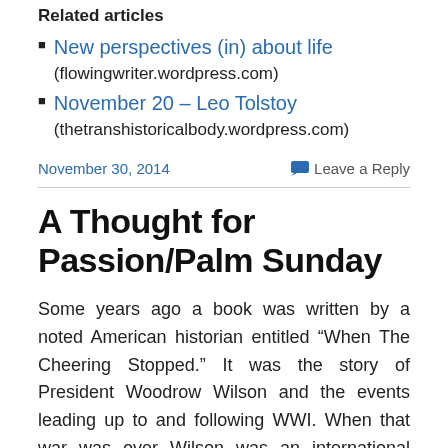Related articles
New perspectives (in) about life
(flowingwriter.wordpress.com)
November 20 – Leo Tolstoy
(thetranshistoricalbody.wordpress.com)
November 30, 2014
Leave a Reply
A Thought for Passion/Palm Sunday
Some years ago a book was written by a noted American historian entitled “When The Cheering Stopped.” It was the story of President Woodrow Wilson and the events leading up to and following WWI. When that war was over Wilson was an international hero. There was a great spirit of